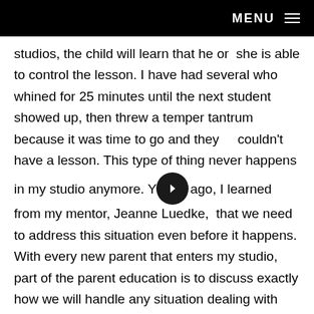MENU ≡
studios, the child will learn that he or  she is able to control the lesson. I have had several who whined for 25 minutes until the next student showed up, then threw a temper tantrum because it was time to go and they    couldn't have a lesson. This type of thing never happens in my studio anymore. Y[arrow]ago, I learned from my mentor, Jeanne Luedke,  that we need to address this situation even before it happens. With every new parent that enters my studio, part of the parent education is to discuss exactly how we will handle any situation dealing with appropriate lesson behaviour. Our goal is to train the child quickly and easily to have a productive lesson. I tell the parent that eventually, the child will come to the lesson